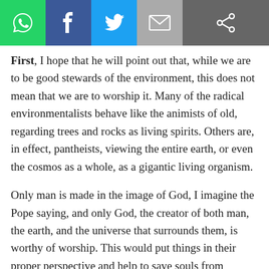[Figure (other): Social media sharing toolbar with WhatsApp, Facebook, Twitter, Email, and share icons]
First, I hope that he will point out that, while we are to be good stewards of the environment, this does not mean that we are to worship it. Many of the radical environmentalists behave like the animists of old, regarding trees and rocks as living spirits. Others are, in effect, pantheists, viewing the entire earth, or even the cosmos as a whole, as a gigantic living organism.
Only man is made in the image of God, I imagine the Pope saying, and only God, the creator of both man, the earth, and the universe that surrounds them, is worthy of worship. This would put things in their proper perspective and help to save souls from modern-day green heresies.
Second, I hope that the Pope will emphasize the need...